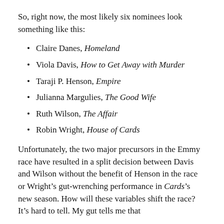So, right now, the most likely six nominees look something like this:
Claire Danes, Homeland
Viola Davis, How to Get Away with Murder
Taraji P. Henson, Empire
Julianna Margulies, The Good Wife
Ruth Wilson, The Affair
Robin Wright, House of Cards
Unfortunately, the two major precursors in the Emmy race have resulted in a split decision between Davis and Wilson without the benefit of Henson in the race or Wright’s gut-wrenching performance in Cards’s new season. How will these variables shift the race? It’s hard to tell. My gut tells me that